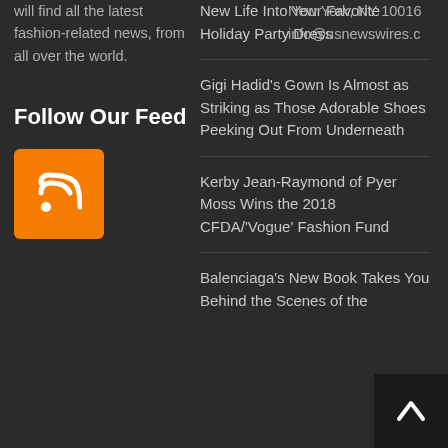will find all the latest fashion-related news, from all over the world.
Follow Our Feed
[Figure (illustration): Orange RSS feed icon button]
New Life Into Your Favorite Holiday Party Dress
Gigi Hadid's Gown Is Almost as Striking as Those Adorable Shoes Peeking Out From Underneath
Kerby Jean-Raymond of Pyer Moss Wins the 2018 CFDA/'Vogue' Fashion Fund
Balenciaga's New Book Takes You Behind the Scenes of the
New York, NY 10016
info@usnewswires.c
[Figure (illustration): Back to top arrow button - dark square with white upward arrow]